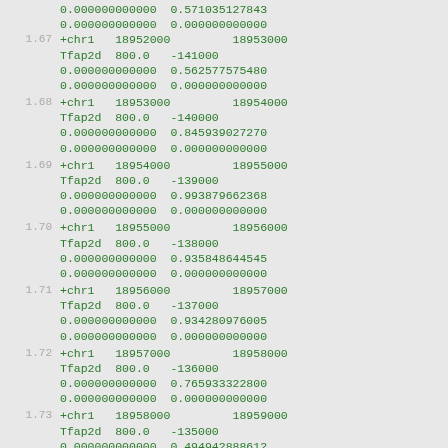0.000000000000  0.571035127843
0.000000000000  0.000000000000
1.67  +chr1  18952000        18953000
      Tfap2d  800.0   -141000
      0.000000000000  0.562577575480
      0.000000000000  0.000000000000
1.68  +chr1  18953000        18954000
      Tfap2d  800.0   -140000
      0.000000000000  0.845939027270
      0.000000000000  0.000000000000
1.69  +chr1  18954000        18955000
      Tfap2d  800.0   -139000
      0.000000000000  0.993879662368
      0.000000000000  0.000000000000
1.70  +chr1  18955000        18956000
      Tfap2d  800.0   -138000
      0.000000000000  0.935848644545
      0.000000000000  0.000000000000
1.71  +chr1  18956000        18957000
      Tfap2d  800.0   -137000
      0.000000000000  0.934280976005
      0.000000000000  0.000000000000
1.72  +chr1  18957000        18958000
      Tfap2d  800.0   -136000
      0.000000000000  0.765933322800
      0.000000000000  0.000000000000
1.73  +chr1  18958000        18959000
      Tfap2d  800.0   -135000
      0.000000000000  0.494942888612
      0.000000000000  0.000000000000
1.74  +chr1  18959000        18960000